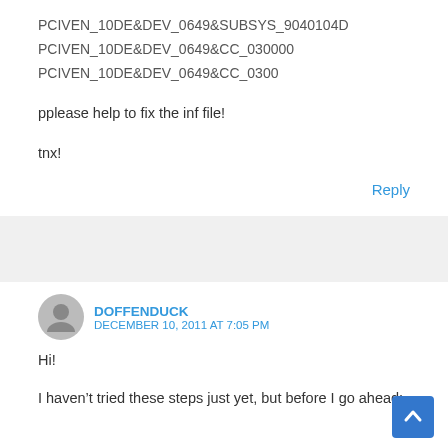PCIVEN_10DE&DEV_0649&SUBSYS_9040104D
PCIVEN_10DE&DEV_0649&CC_030000
PCIVEN_10DE&DEV_0649&CC_0300
pplease help to fix the inf file!
tnx!
Reply
DOFFENDUCK
DECEMBER 10, 2011 AT 7:05 PM
Hi!
I haven't tried these steps just yet, but before I go ahead: